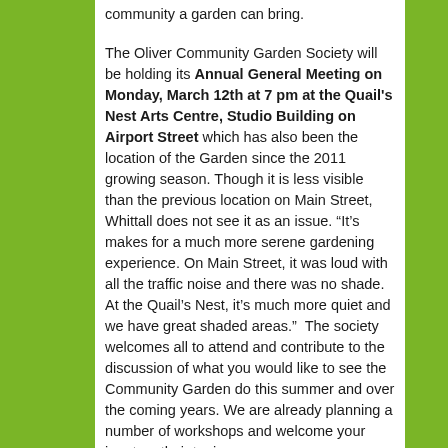community a garden can bring.
The Oliver Community Garden Society will be holding its Annual General Meeting on Monday, March 12th at 7 pm at the Quail's Nest Arts Centre, Studio Building on Airport Street which has also been the location of the Garden since the 2011 growing season. Though it is less visible than the previous location on Main Street, Whittall does not see it as an issue. “It’s makes for a much more serene gardening experience. On Main Street, it was loud with all the traffic noise and there was no shade. At the Quail’s Nest, it’s much more quiet and we have great shaded areas.”  The society welcomes all to attend and contribute to the discussion of what you would like to see the Community Garden do this summer and over the coming years. We are already planning a number of workshops and welcome your input on their topics.
The  community garden willl be holding monthly workshops on second Saturdays of each month starting in May as well as getting the youth of the community more